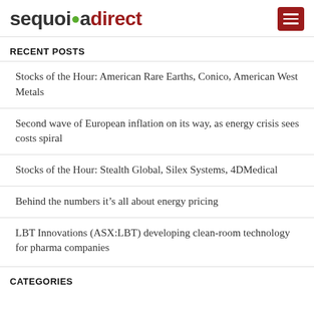sequoiadirect
RECENT POSTS
Stocks of the Hour: American Rare Earths, Conico, American West Metals
Second wave of European inflation on its way, as energy crisis sees costs spiral
Stocks of the Hour: Stealth Global, Silex Systems, 4DMedical
Behind the numbers it's all about energy pricing
LBT Innovations (ASX:LBT) developing clean-room technology for pharma companies
CATEGORIES